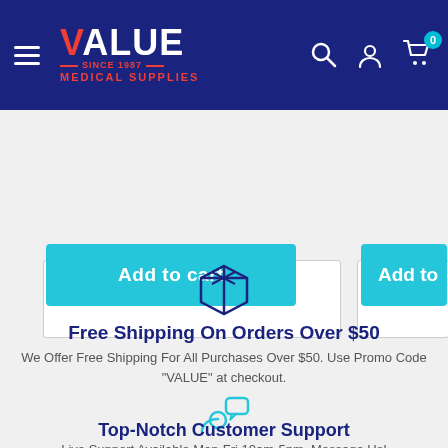VALUE MEDICAL SUPPLIES - Navigation header with logo, search, account, and cart icons
Add to cart
Add to
[Figure (illustration): Package/box icon in dark blue outline style representing shipping]
Free Shipping On Orders Over $50
We Offer Free Shipping For All Purchases Over $50. Use Promo Code "VALUE" at checkout.
[Figure (illustration): Customer support icon in teal/cyan showing a person with a speech bubble]
Top-Notch Customer Support
Live Support Available Mon-Fri 10am-5pm. Message Us!